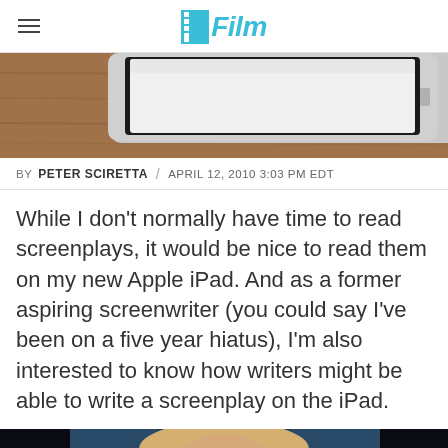/Film
[Figure (photo): Top portion of an iPad device showing the screen and bezel, placed on a wooden surface]
BY PETER SCIRETTA / APRIL 12, 2010 3:03 PM EDT
While I don't normally have time to read screenplays, it would be nice to read them on my new Apple iPad. And as a former aspiring screenwriter (you could say I've been on a five year hiatus), I'm also interested to know how writers might be able to write a screenplay on the iPad.
[Figure (photo): A woman wearing a black masquerade mask with ornate details, blonde hair visible, dark background]